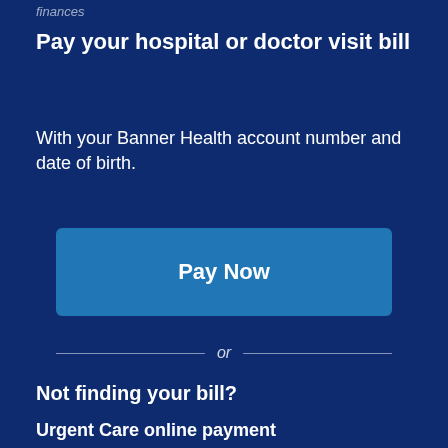finances
Pay your hospital or doctor visit bill
With your Banner Health account number and date of birth.
[Figure (other): Pay Now button — a rectangular button with blue background (#2177b5) containing the bold white text 'Pay Now']
or
Not finding your bill?
Urgent Care online payment